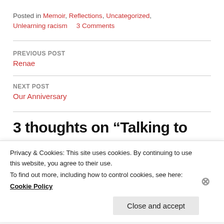Posted in Memoir, Reflections, Uncategorized, Unlearning racism   3 Comments
PREVIOUS POST
Renae
NEXT POST
Our Anniversary
3 thoughts on “Talking to
Privacy & Cookies: This site uses cookies. By continuing to use this website, you agree to their use.
To find out more, including how to control cookies, see here:
Cookie Policy
Close and accept